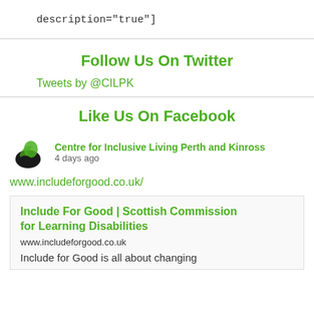description="true"]
Follow Us On Twitter
Tweets by @CILPK
Like Us On Facebook
Centre for Inclusive Living Perth and Kinross
4 days ago
www.includeforgood.co.uk/
Include For Good | Scottish Commission for Learning Disabilities
www.includeforgood.co.uk
Include for Good is all about changing